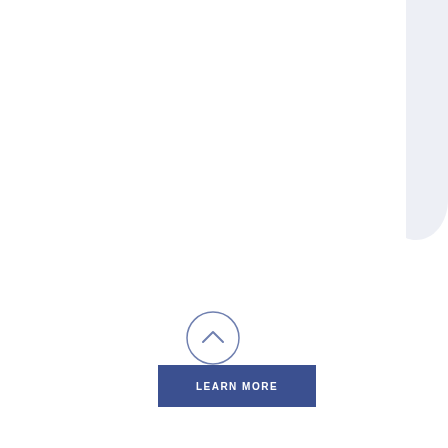[Figure (illustration): Partial decorative shape in top-right corner, light blue/gray teardrop or curved form]
[Figure (illustration): Circle button with upward-pointing chevron arrow, blue outline on white background]
LEARN MORE